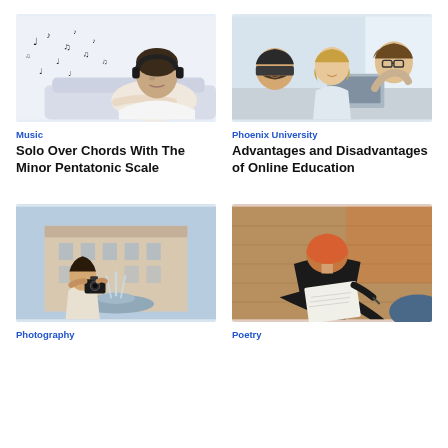[Figure (photo): Woman with headphones and musical notes floating around her]
Music
Solo Over Chords With The Minor Pentatonic Scale
[Figure (photo): Group of young students looking at a laptop screen together]
Phoenix University
Advantages and Disadvantages of Online Education
[Figure (photo): Woman with camera photographing a fountain in front of a grand building]
Photography
[Figure (photo): Young woman sitting on floor writing in a notebook]
Poetry